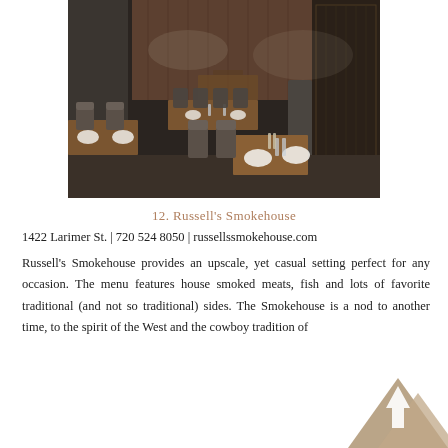[Figure (photo): Interior of Russell's Smokehouse restaurant showing a long dining room with wooden tables set with plates and glassware, upholstered chairs and booth seating, wooden wall panels, and pendant lighting overhead.]
12. Russell's Smokehouse
1422 Larimer St. | 720 524 8050 | russellssmokehouse.com
Russell's Smokehouse provides an upscale, yet casual setting perfect for any occasion. The menu features house smoked meats, fish and lots of favorite traditional (and not so traditional) sides. The Smokehouse is a nod to another time, to the spirit of the West and the cowboy tradition of